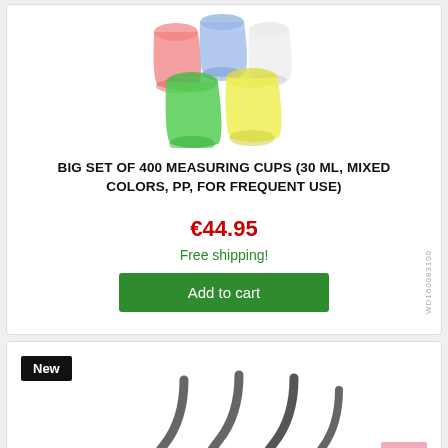[Figure (photo): Five colorful measuring cups (red, blue, white, green, yellow) arranged in a cluster on white background]
BIG SET OF 400 MEASURING CUPS (30 ML, MIXED COLORS, PP, FOR FREQUENT USE)
€44.95
Free shipping!
Add to cart
WD160083100
New
[Figure (photo): Several S-shaped metal hooks arranged overlapping on white background]